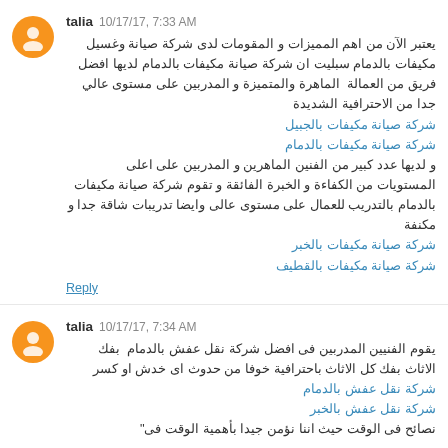talia  10/17/17, 7:33 AM
يعتبر الآن من اهم المميزات و المقومات لدى شركة صيانة وغسيل مكيفات بالدمام سبليت ان شركة صيانة مكيفات بالدمام لديها افضل فريق من العمالة  الماهرة والمتميزة و المدربين على مستوى عالي جدا من الاحترافية الشديدة شركة صيانة مكيفات بالجبيل
شركة صيانة مكيفات بالدمام
و لديها عدد كبير من الفنين الماهرين و المدربين على اعلى المستويات من الكفاءة و الخبرة الفائقة و تقوم شركة صيانة مكيفات بالدمام بالتدريب للعمال على مستوى عالى وايضا تدريبات شاقة جدا و مكنفة شركة صيانة مكيفات بالخبر
شركة صيانة مكيفات بالقطيف
Reply
talia  10/17/17, 7:34 AM
يقوم الفنيين المدربين فى افضل شركة نقل عفش بالدمام  بفك الاثاث بفك كل الاثاث باحترافية خوفا من حدوث اى خدش او كسر
شركة نقل عفش بالدمام
شركة نقل عفش بالخبر
نصائح فى الوقت حيث اننا نؤمن جيدا بأهمية الوقت فى...